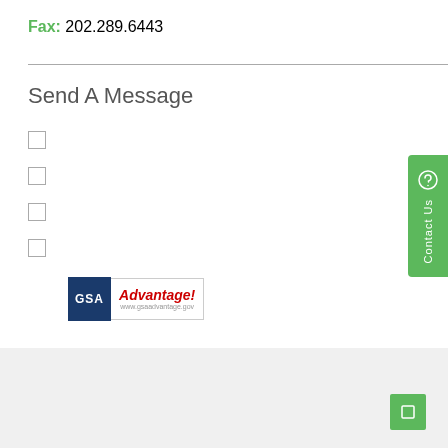Fax: 202.289.6443
Send A Message
[Figure (logo): GSA Advantage! logo with blue GSA box and red italic Advantage! text with website url]
[Figure (other): Contact Us vertical tab button in green on right side]
[Figure (other): Green square button with icon in footer area bottom right]